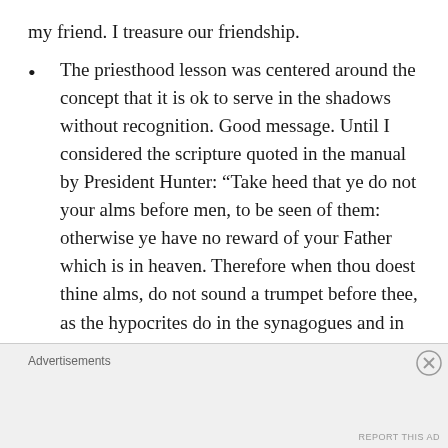my friend.  I treasure our friendship.
The priesthood lesson was centered around the concept that it is ok to serve in the shadows without recognition. Good message. Until I considered the scripture quoted in the manual by President Hunter:  “Take heed that ye do not your alms before men, to be seen of them: otherwise ye have no reward of your Father which is in heaven.  Therefore when thou doest thine alms, do not sound a trumpet before thee, as the hypocrites do in the synagogues and in the streets, that they may have glory of men. Verily I say unto you, They
Advertisements